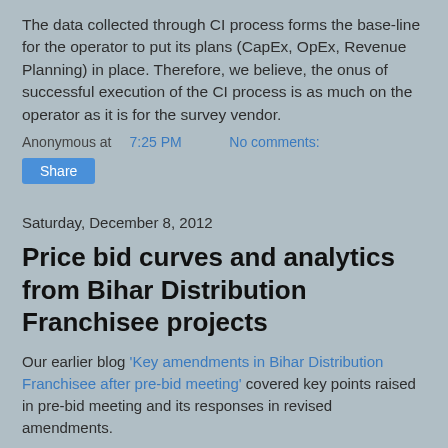The data collected through CI process forms the base-line for the operator to put its plans (CapEx, OpEx, Revenue Planning) in place. Therefore, we believe, the onus of successful execution of the CI process is as much on the operator as it is for the survey vendor.
Anonymous at 7:25 PM    No comments:
Share
Saturday, December 8, 2012
Price bid curves and analytics from Bihar Distribution Franchisee projects
Our earlier blog 'Key amendments in Bihar Distribution Franchisee after pre-bid meeting' covered key points raised in pre-bid meeting and its responses in revised amendments.
Bihar State Power (Holding) Company Limited (BSPHCL) has given minimum benchmark input price curve for all the